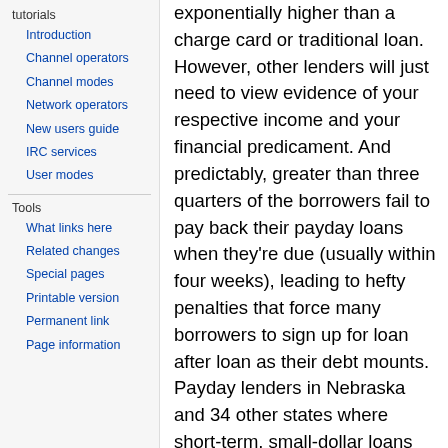tutorials
Introduction
Channel operators
Channel modes
Network operators
New users guide
IRC services
User modes
Tools
What links here
Related changes
Special pages
Printable version
Permanent link
Page information
exponentially higher than a charge card or traditional loan. However, other lenders will just need to view evidence of your respective income and your financial predicament. And predictably, greater than three quarters of the borrowers fail to pay back their payday loans when they're due (usually within four weeks), leading to hefty penalties that force many borrowers to sign up for loan after loan as their debt mounts. Payday lenders in Nebraska and 34 other states where short-term, small-dollar loans are permitted eventually may have to take extra care to create borrowers' ability to before the loans are issued, based on new federal rules. Don't worry, it only takes a number of moments after which you could possess the cash you may need. The average payday loan borrower spends nearly half